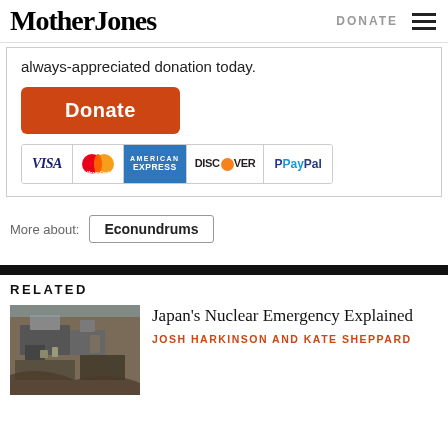Mother Jones | DONATE
always-appreciated donation today.
[Figure (other): Orange Donate button]
[Figure (other): Payment icons: VISA, MasterCard, American Express, Discover, PayPal]
More about: Econundrums
RELATED
[Figure (photo): Aerial photo of Japan nuclear facility]
Japan’s Nuclear Emergency Explained
JOSH HARKINSON AND KATE SHEPPARD